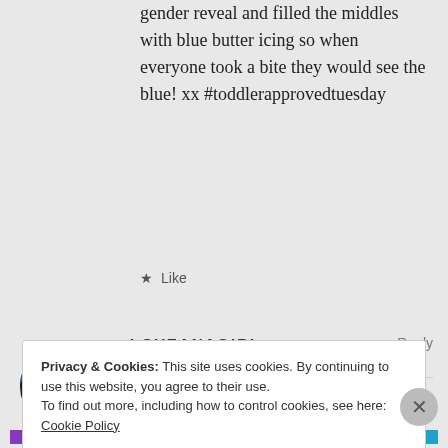gender reveal and filled the middles with blue butter icing so when everyone took a bite they would see the blue! xx #toddlerapprovedtuesday
★ Like
[Figure (photo): Circular avatar photo of a person with red face paint and blue hair/feathers, likely in costume]
LOVEANAGIRL says:
June 12, 2015 at 9:13 am
↩ Reply
That's a cool idea!!!
Privacy & Cookies: This site uses cookies. By continuing to use this website, you agree to their use. To find out more, including how to control cookies, see here: Cookie Policy
Close and accept